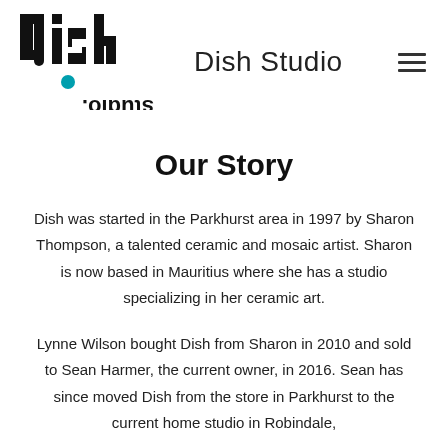[Figure (logo): Dish Studio logo — bold black text 'dish' with a mirrored 'studio' below in black, with a teal dot, and 'Dish Studio' wordmark text to the right, plus a hamburger menu icon on the far right]
Our Story
Dish was started in the Parkhurst area in 1997 by Sharon Thompson, a talented ceramic and mosaic artist. Sharon is now based in Mauritius where she has a studio specializing in her ceramic art.
Lynne Wilson bought Dish from Sharon in 2010 and sold to Sean Harmer, the current owner, in 2016. Sean has since moved Dish from the store in Parkhurst to the current home studio in Robindale,